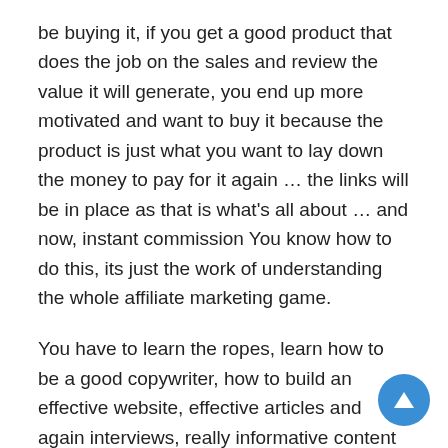be buying it, if you get a good product that does the job on the sales and review the value it will generate, you end up more motivated and want to buy it because the product is just what you want to lay down the money to pay for it again … the links will be in place as that is what's all about … and now, instant commission You know how to do this, its just the work of understanding the whole affiliate marketing game.
You have to learn the ropes, learn how to be a good copywriter, how to build an effective website, effective articles and again interviews, really informative content but that's a whole beginning.
The good news is there's still a lot of money to be made, [link] it being said it's not a get rich quick scheme, it's only possible if you really want to be a successful affiliate marketer by following the tips and tricks we're discussing here.